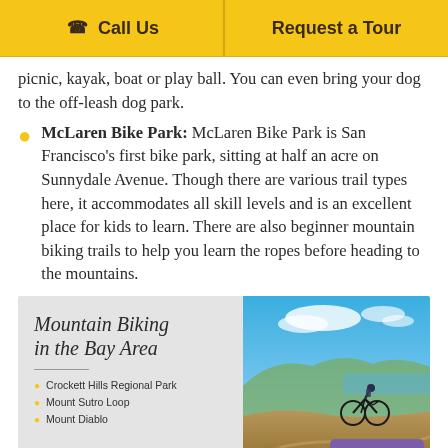Call Us | Request a Tour
picnic, kayak, boat or play ball. You can even bring your dog to the off-leash dog park.
McLaren Bike Park: McLaren Bike Park is San Francisco's first bike park, sitting at half an acre on Sunnydale Avenue. Though there are various trail types here, it accommodates all skill levels and is an excellent place for kids to learn. There are also beginner mountain biking trails to help you learn the ropes before heading to the mountains.
[Figure (infographic): Mountain Biking in the Bay Area infographic with photo of mountain biker and list: Crockett Hills Regional Park, Mount Sutro Loop, Mount Diablo]